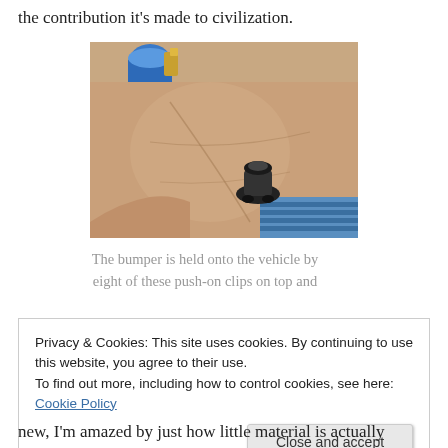the contribution it's made to civilization.
[Figure (photo): A hand with a gold ring on one finger holding a small black push-on plastic clip/fastener in the palm. Background shows blue striped fabric and a blue cylindrical object.]
The bumper is held onto the vehicle by eight of these push-on clips on top and
Privacy & Cookies: This site uses cookies. By continuing to use this website, you agree to their use.
To find out more, including how to control cookies, see here: Cookie Policy

Close and accept
new, I'm amazed by just how little material is actually